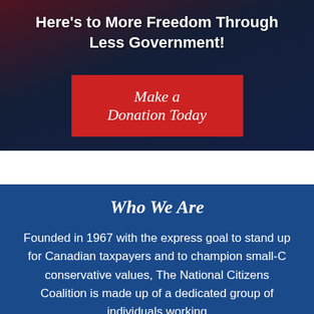Here's to More Freedom Through Less Government!
[Figure (other): Red donation button with italic text 'Make a Donation Today' on dark blue/red background with crowd silhouette]
Who We Are
Founded in 1967 with the express goal to stand up for Canadian taxpayers and to champion small-C conservative values, The National Citizens Coalition is made up of a dedicated group of individuals working